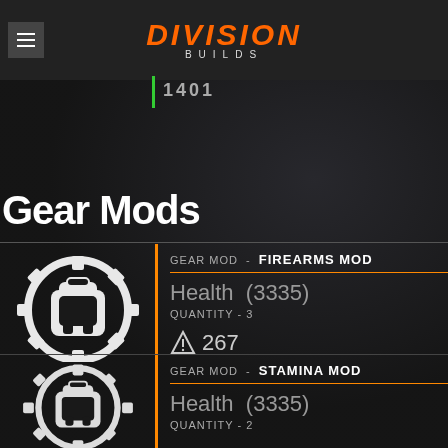DIVISION BUILDS BETA - 1401
Gear Mods
GEAR MOD - FIREARMS MOD
Health (3335)
QUANTITY - 3
267
GEAR MOD - STAMINA MOD
Health (3335)
QUANTITY - 2